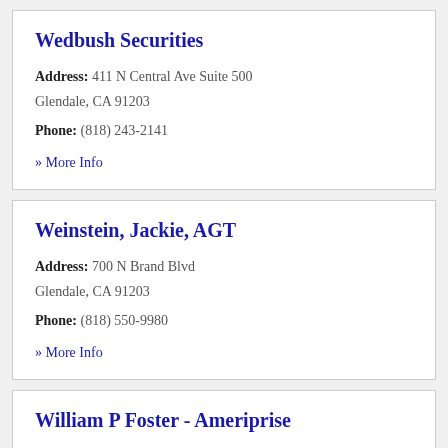Wedbush Securities
Address: 411 N Central Ave Suite 500 Glendale, CA 91203
Phone: (818) 243-2141
» More Info
Weinstein, Jackie, AGT
Address: 700 N Brand Blvd Glendale, CA 91203
Phone: (818) 550-9980
» More Info
William P Foster - Ameriprise